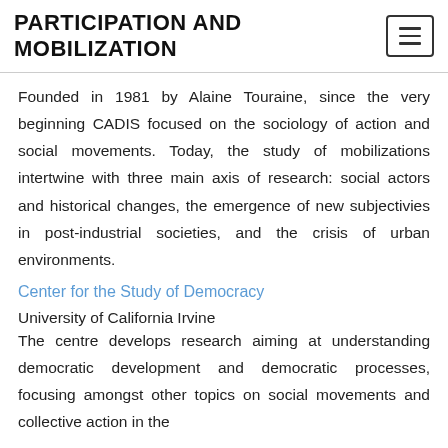PARTICIPATION AND MOBILIZATION
Founded in 1981 by Alaine Touraine, since the very beginning CADIS focused on the sociology of action and social movements. Today, the study of mobilizations intertwine with three main axis of research: social actors and historical changes, the emergence of new subjectivies in post-industrial societies, and the crisis of urban environments.
Center for the Study of Democracy
University of California Irvine
The centre develops research aiming at understanding democratic development and democratic processes, focusing amongst other topics on social movements and collective action in the